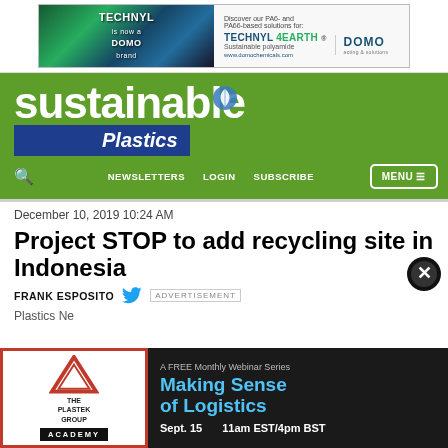[Figure (advertisement): TECHNYL DOMO Chemicals banner advertisement showing 'TECHNYL 4EARTH Sustainable polyamide' with text 'Discover our PA6- and PA66-based solutions for:' and website www.domochemicals.com]
[Figure (logo): Sustainable Plastics website logo/header on green background with leaf icon, 'sustainable' in large white lowercase text, and 'Plastics' in blue bar]
NEWSLETTERS   LOGIN   SUBSCRIBE   MENU
December 10, 2019 10:24 AM
Project STOP to add recycling site in Indonesia
FRANK ESPOSITO
ADVERTISEMENT
Plastics Ne
[Figure (advertisement): The Plastek Group Academy advertisement - A FREE Monthly Webinar Series: Making Sense of Logistics. Sept. 15, 11am EST/4pm BST]